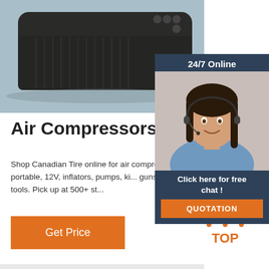[Figure (photo): Dark grey/black portable air compressor device on light blue-grey background]
[Figure (photo): 24/7 Online chat widget with photo of smiling woman with headset and 'Click here for free chat!' text and QUOTATION button]
Air Compressors
Shop Canadian Tire online for air compressors, electric, portable, 12V, inflators, pumps, ki... guns & air power tools. Pick up at 500+ st...
[Figure (illustration): Orange 'TOP' logo with dotted triangle arrow pointing up]